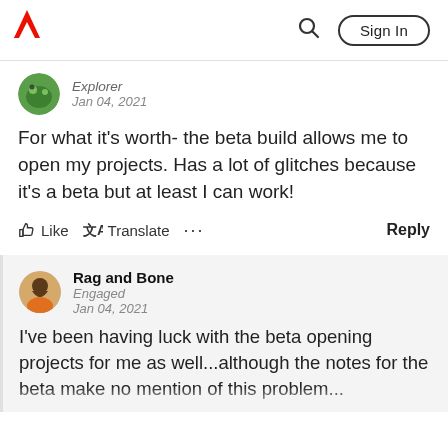Adobe | Sign In
Explorer
Jan 04, 2021
For what it's worth- the beta build allows me to open my projects. Has a lot of glitches because it's a beta but at least I can work!
Like   Translate   ...   Reply
Rag and Bone
Engaged
Jan 04, 2021
I've been having luck with the beta opening projects for me as well...although the notes for the beta make no mention of this problem...